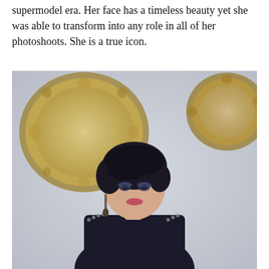supermodel era. Her face has a timeless beauty yet she was able to transform into any role in all of her photoshoots. She is a true icon.
[Figure (photo): A woman with short dark pixie-cut hair, wearing a studded black leather jacket and dangling earrings, posing in front of two ornate gold-framed mirrors against a light grey wall.]